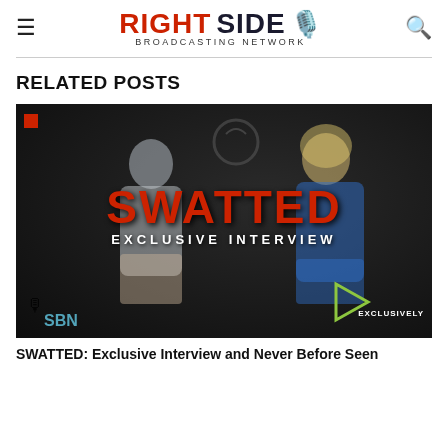RIGHT SIDE BROADCASTING NETWORK
RELATED POSTS
[Figure (photo): Dark background interview scene with two people seated, overlaid with large red text 'SWATTED' and white text 'EXCLUSIVE INTERVIEW'. Red square in top-left corner, play button and RSBN logo in lower corners.]
SWATTED: Exclusive Interview and Never Before Seen